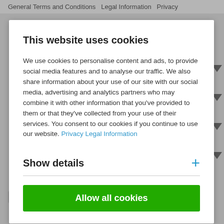General Terms and Conditions  Legal Information  Privacy
This website uses cookies
We use cookies to personalise content and ads, to provide social media features and to analyse our traffic. We also share information about your use of our site with our social media, advertising and analytics partners who may combine it with other information that you've provided to them or that they've collected from your use of their services. You consent to our cookies if you continue to use our website. Privacy Legal Information
Show details
Allow all cookies
© Gifts for 25th wedding anniversaries | Connox Shop